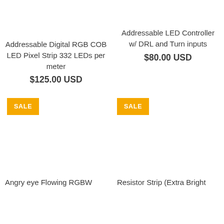Addressable Digital RGB COB LED Pixel Strip 332 LEDs per meter
$125.00 USD
Addressable LED Controller w/ DRL and Turn inputs
$80.00 USD
SALE
SALE
Angry eye Flowing RGBW